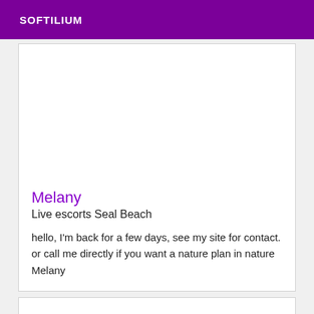SOFTILIUM
Melany
Live escorts Seal Beach
hello, I'm back for a few days, see my site for contact. or call me directly if you want a nature plan in nature Melany